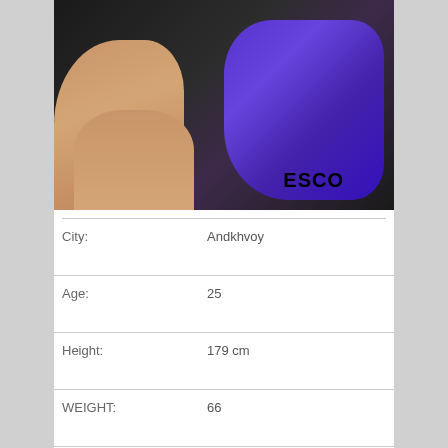[Figure (photo): A woman in a blue/purple glittery dress sitting on a stool against a dark background, with partially visible hair. Watermark text 'ESCO' visible at lower center.]
| City: | Andkhvoy |
| Age: | 25 |
| Height: | 179 cm |
| WEIGHT: | 66 |
| Time to call: | 11:00 – 20:00 |
| Threesome with lesbians: | Yes |
| Services: | French Kissing, Receiving |